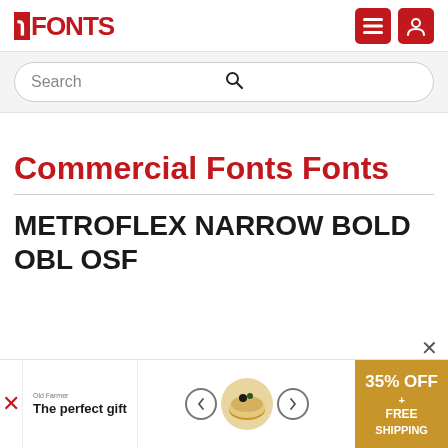FONTS (logo) — header with search
Commercial Fonts Fonts
METROFLEX NARROW BOLD OBL OSF
[Figure (other): Advertisement banner: The perfect gift — 35% OFF + FREE SHIPPING]